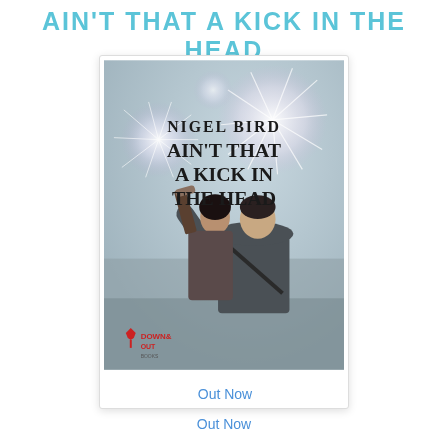AIN'T THAT A KICK IN THE HEAD
[Figure (illustration): Book cover for 'Ain't That a Kick in the Head' by Nigel Bird, published by Down & Out Books. Shows two figures from behind with fireworks in the background. Bold dark lettering on a misty/hazy sky background.]
Out Now